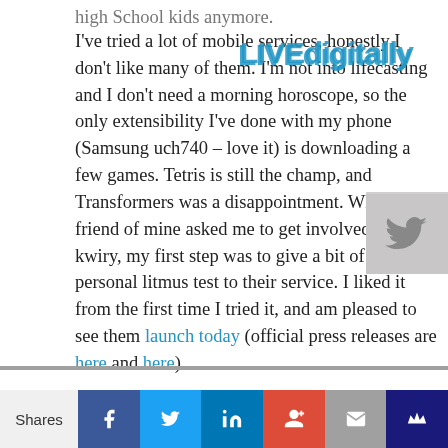high School kids anymore.
I've tried a lot of mobile services, honestly I don't like many of them. I'm not into lifecasting and I don't need a morning horoscope, so the only extensibility I've done with my phone (Samsung uch740 – love it) is downloading a few games. Tetris is still the champ, and Transformers was a disappointment. When a friend of mine asked me to get involved with kwiry, my first step was to give a bit of a personal litmus test to their service. I liked it from the first time I tried it, and am pleased to see them launch today (official press releases are here and here).
Mid-post disclosure: Stage Two Consulting is doing marketing consulting for kwiry.
As you can read from other reviews (Engadget Mobile, VentureBeat, Geek.com, mocoNews
[Figure (logo): LIVEdigitally watermark text in blue]
[Figure (screenshot): Twitter bird icon in gray box]
Shares | Facebook | Twitter | LinkedIn | Google+ | Email | Crown